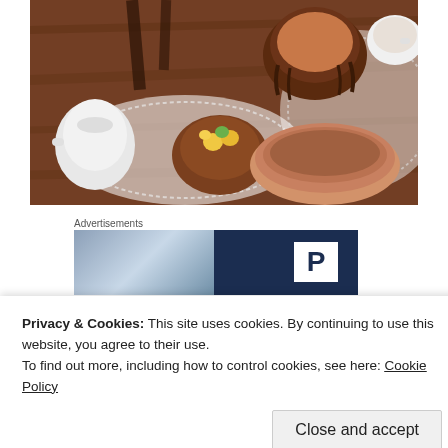[Figure (photo): Overhead view of a café table with brown ceramic cups of chocolate/coffee drinks, a small bowl of fruit salad, a white teapot, and lace doilies on a wooden table.]
Advertisements
[Figure (photo): Advertisement banner showing a photo on the left and a dark blue background with large white 'P' letter on the right.]
Privacy & Cookies: This site uses cookies. By continuing to use this website, you agree to their use.
To find out more, including how to control cookies, see here: Cookie Policy
[Figure (photo): Second advertisement banner partially visible at the bottom.]